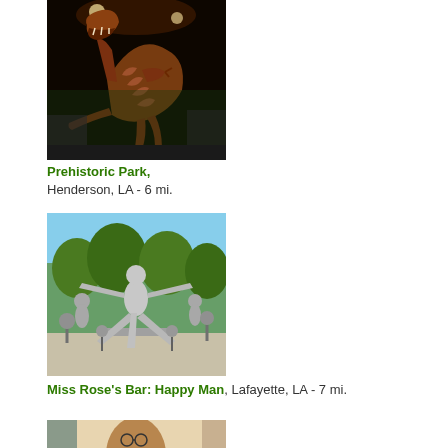[Figure (photo): Interior museum photo showing a large dinosaur skeleton (T-Rex) displayed in a museum with painted murals and exhibit cases in background]
Prehistoric Park, Henderson, LA - 6 mi.
[Figure (photo): Outdoor sculpture of metallic human figures, with a central figure with outstretched arms and legs, surrounded by other figures, in a park setting]
Miss Rose's Bar: Happy Man, Lafayette, LA - 7 mi.
[Figure (photo): Indoor photo showing a bronze bust/statue of a person wearing glasses in what appears to be a museum or gallery setting]